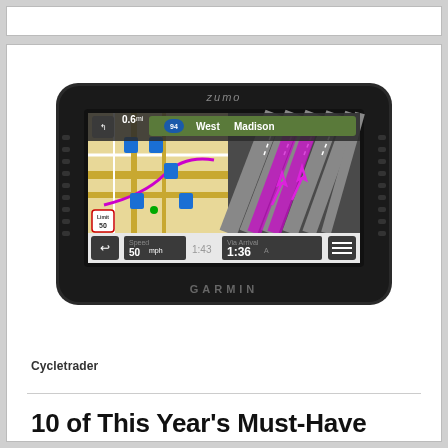[Figure (photo): Garmin Zumo GPS motorcycle navigation device showing map display with West 94 Madison direction, speed 50mph, and arrival time 1:36, with lane guidance overlay on the right side of the screen.]
Cycletrader
10 of This Year's Must-Have Moto Accessories